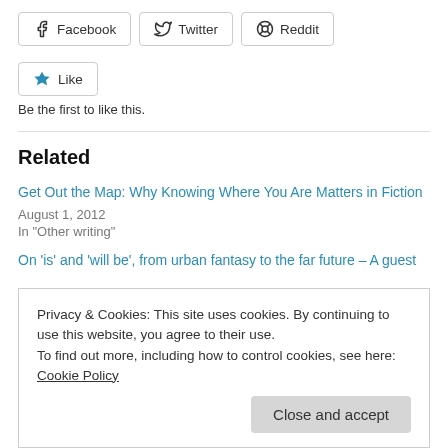Facebook
Twitter
Reddit
Like
Be the first to like this.
Related
Get Out the Map: Why Knowing Where You Are Matters in Fiction
August 1, 2012
In "Other writing"
On 'is' and 'will be', from urban fantasy to the far future – A guest
Privacy & Cookies: This site uses cookies. By continuing to use this website, you agree to their use.
To find out more, including how to control cookies, see here: Cookie Policy
Close and accept